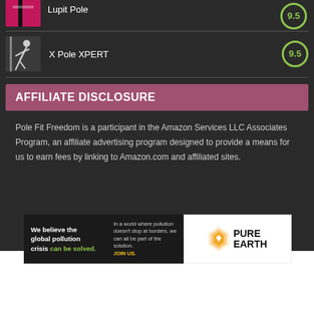[Figure (photo): Partial product image top (pink/black pole dancing equipment, cropped)]
Lupit Pole
9.5
[Figure (photo): Person doing a pole dancing pose, wearing black outfit]
X Pole XPERT
9.5
AFFILIATE DISCLOSURE
Pole Fit Freedom is a participant in the Amazon Services LLC Associates Program, an affiliate advertising program designed to provide a means for us to earn fees by linking to Amazon.com and affiliated sites.
[Figure (infographic): Pure Earth ad banner: 'We believe the global pollution crisis can be solved.' with Pure Earth logo]